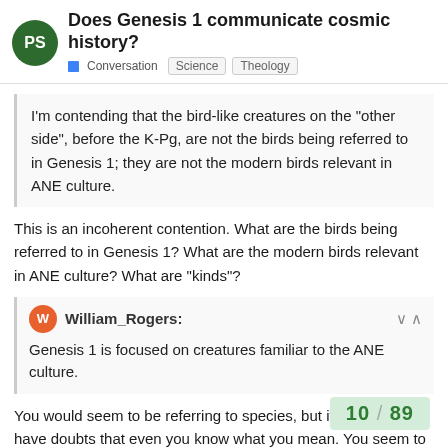Does Genesis 1 communicate cosmic history? | Conversation Science Theology
I'm contending that the bird-like creatures on the "other side", before the K-Pg, are not the birds being referred to in Genesis 1; they are not the modern birds relevant in ANE culture.
This is an incoherent contention. What are the birds being referred to in Genesis 1? What are the modern birds relevant in ANE culture? What are “kinds”?
William_Rogers:
Genesis 1 is focused on creatures familiar to the ANE culture.
You would seem to be referring to species, but it isn’t clear. I have doubts that even you know what you mean. You seem to be searching for something that can nea... Cretaceous from the Cenozoic. If so, you h...
10 / 89